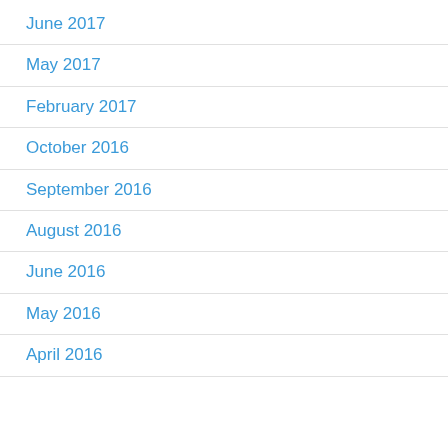June 2017
May 2017
February 2017
October 2016
September 2016
August 2016
June 2016
May 2016
April 2016